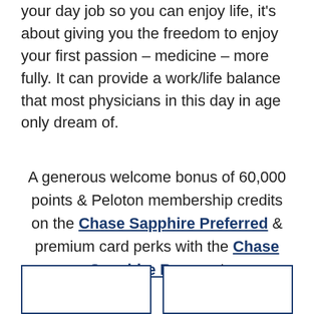your day job so you can enjoy life, it's about giving you the freedom to enjoy your first passion – medicine – more fully. It can provide a work/life balance that most physicians in this day in age only dream of.
A generous welcome bonus of 60,000 points & Peloton membership credits on the Chase Sapphire Preferred & premium card perks with the Chase Sapphire Reserve!
[Figure (other): Two side-by-side rectangular boxes with blue borders, partially visible at the bottom of the page]